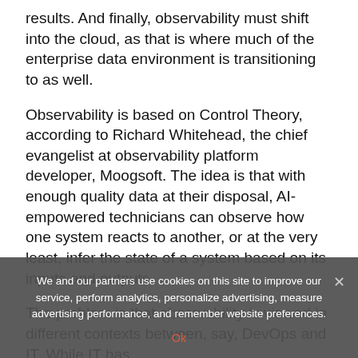results. And finally, observability must shift into the cloud, as that is where much of the enterprise data environment is transitioning to as well.
Observability is based on Control Theory, according to Richard Whitehead, the chief evangelist at observability platform developer, Moogsoft. The idea is that with enough quality data at their disposal, AI-empowered technicians can observe how one system reacts to another, or at the very least, infer the state of a system based on its inputs and outputs.
The problem is that observability is viewed in different contexts between, say, DevOps and IT. While IT has
We and our partners use cookies on this site to improve our service, perform analytics, personalize advertising, measure advertising performance, and remember website preferences.